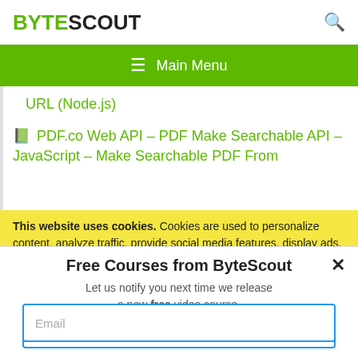BYTESCOUT
Main Menu
URL (Node.js)
PDF.co Web API – PDF Make Searchable API – JavaScript – Make Searchable PDF From
This website uses cookies. Cookies are used to personalize content, analyze traffic, provide social media features, display ads. We also share
Free Courses from ByteScout
Let us notify you next time we release a new free video course.